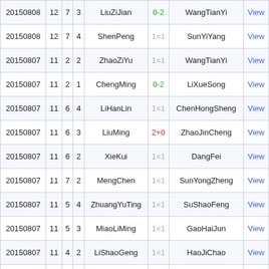| Date | Col1 | Col2 | Col3 | Player1 | Score | Player2 | Link |
| --- | --- | --- | --- | --- | --- | --- | --- |
| 20150808 | 12 | 7 | 3 | LiuZiJian | 0-2 | WangTianYi | View |
| 20150808 | 12 | 7 | 4 | ShenPeng | 1=1 | SunYiYang | View |
| 20150807 | 11 | 2 | 2 | ZhaoZiYu | 1=1 | WangTianYi | View |
| 20150807 | 11 | 2 | 1 | ChengMing | 0-2 | LiXueSong | View |
| 20150807 | 11 | 6 | 4 | LiHanLin | 1=1 | ChenHongSheng | View |
| 20150807 | 11 | 6 | 3 | LiuMing | 2+0 | ZhaoJinCheng | View |
| 20150807 | 11 | 6 | 2 | XieKui | 1=1 | DangFei | View |
| 20150807 | 11 | 7 | 2 | MengChen | 1=1 | SunYongZheng | View |
| 20150807 | 11 | 5 | 4 | ZhuangYuTing | 1=1 | SuShaoFeng | View |
| 20150807 | 11 | 5 | 3 | MiaoLiMing | 1=1 | GaoHaiJun | View |
| 20150807 | 11 | 4 | 2 | LiShaoGeng | 1=1 | HaoJiChao | View |
| 20150807 | 11 | 2 | 4 | LiZhiPing | 1=1 | ChenFuJie | View |
| 20150807 | 11 | 2 | 3 | ShenPeng | 2+0 | LiuDaHua | View |
| 20150807 | 11 | 7 | 1 | XieJing | 2+0 | BuFengBo | View |